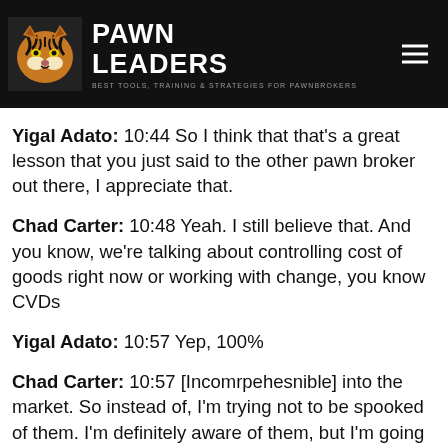PAWN LEADERS
Yigal Adato: 10:44 So I think that that's a great lesson that you just said to the other pawn broker out there, I appreciate that.
Chad Carter: 10:48 Yeah. I still believe that. And you know, we're talking about controlling cost of goods right now or working with change, you know CVDs
Yigal Adato: 10:57 Yep, 100%
Chad Carter: 10:57 [Incomrpehesnible] into the market. So instead of, I'm trying not to be spooked of them. I'm definitely aware of them, but I'm going to try to figure out how to make money with it. Yeah.